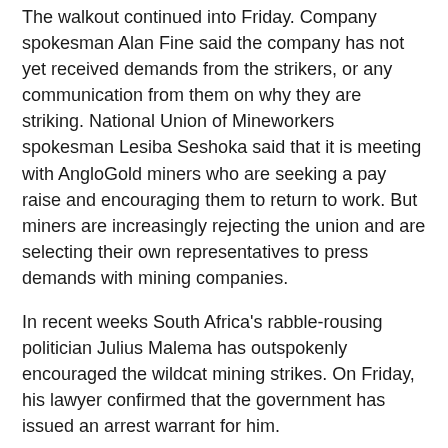The walkout continued into Friday. Company spokesman Alan Fine said the company has not yet received demands from the strikers, or any communication from them on why they are striking. National Union of Mineworkers spokesman Lesiba Seshoka said that it is meeting with AngloGold miners who are seeking a pay raise and encouraging them to return to work. But miners are increasingly rejecting the union and are selecting their own representatives to press demands with mining companies.
In recent weeks South Africa's rabble-rousing politician Julius Malema has outspokenly encouraged the wildcat mining strikes. On Friday, his lawyer confirmed that the government has issued an arrest warrant for him.
“Yes, I have met with my client and we are busy engaging with the authorities over this,” said lawyer Niqcui Glaktiou. “I do not have a copy of the warrant and I don’t know what the charges are.” She added that the arrest warrant had been expected by Malema.
Malema, who was expelled from the ruling African National